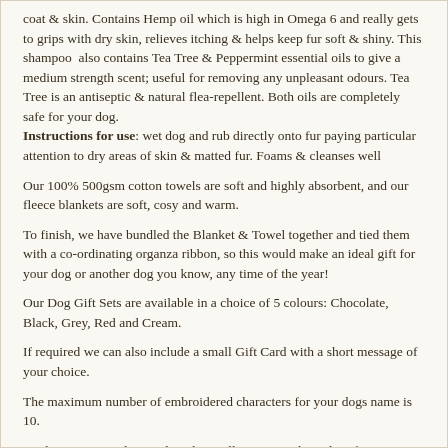coat & skin. Contains Hemp oil which is high in Omega 6 and really gets to grips with dry skin, relieves itching & helps keep fur soft & shiny. This shampoo also contains Tea Tree & Peppermint essential oils to give a medium strength scent; useful for removing any unpleasant odours. Tea Tree is an antiseptic & natural flea-repellent. Both oils are completely safe for your dog. Instructions for use: wet dog and rub directly onto fur paying particular attention to dry areas of skin & matted fur. Foams & cleanses well
Our 100% 500gsm cotton towels are soft and highly absorbent, and our fleece blankets are soft, cosy and warm.
To finish, we have bundled the Blanket & Towel together and tied them with a co-ordinating organza ribbon, so this would make an ideal gift for your dog or another dog you know, any time of the year!
Our Dog Gift Sets are available in a choice of 5 colours: Chocolate, Black, Grey, Red and Cream.
If required we can also include a small Gift Card with a short message of your choice.
The maximum number of embroidered characters for your dogs name is 10.
As this item is made to order, please allow 3-4 working days for your item to be despatched. We will email you when your order is complete.